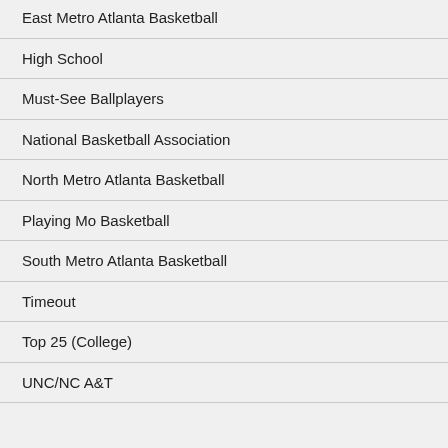East Metro Atlanta Basketball
High School
Must-See Ballplayers
National Basketball Association
North Metro Atlanta Basketball
Playing Mo Basketball
South Metro Atlanta Basketball
Timeout
Top 25 (College)
UNC/NC A&T